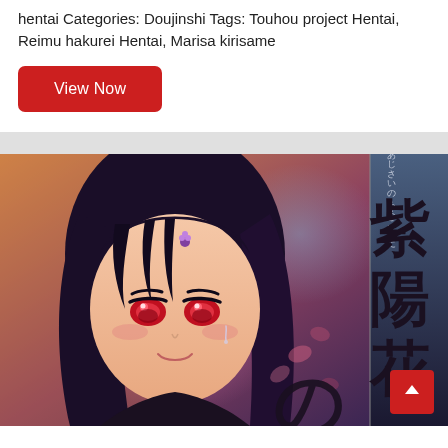hentai Categories: Doujinshi Tags: Touhou project Hentai, Reimu hakurei Hentai, Marisa kirisame
View Now
[Figure (illustration): Manga/doujinshi cover art featuring an anime girl with dark hair and red eyes, with large Japanese kanji characters overlaid. The title appears to be in Japanese. A red scroll-to-top button with an upward arrow is overlaid in the bottom right corner.]